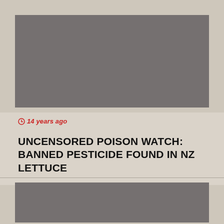[Figure (photo): Gray placeholder image at top of article]
14 years ago
UNCENSORED POISON WATCH: BANNED PESTICIDE FOUND IN NZ LETTUCE
[Figure (photo): Gray placeholder image at bottom of article]